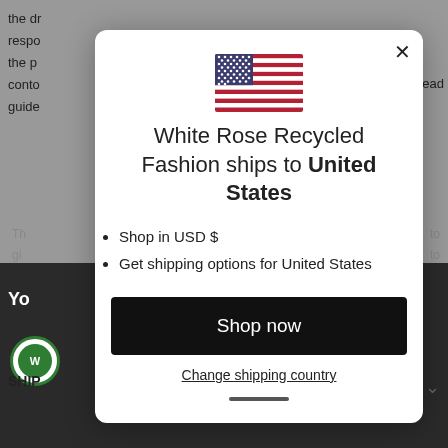the dr... respo... read the p... conta... guide...
[Figure (screenshot): A modal dialog popup over a website page. The modal shows a US flag, text 'White Rose Recycled Fashion ships to United States', bullet points about shopping in USD and shipping options, a 'Shop now' button, and a 'Change shipping country' link. The background shows a partially visible webpage with SHIPPING and REVIEWS sections and a dark footer.]